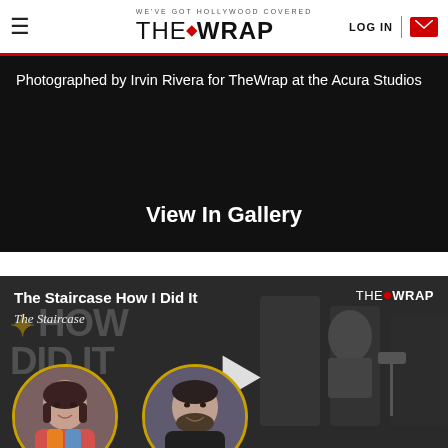WE'VE GOT HOLLYWOOD COVERED — THE WRAP — LOG IN
Photographed by Irvin Rivera for TheWrap at the Acura Studios
View In Gallery
[Figure (screenshot): Video thumbnail for 'The Staircase How I Did It' on TheWrap, showing two circular portrait photos of actors, a play button, and HOW I DID IT overlay text with The Staircase subtitle, TheWrap logo top right]